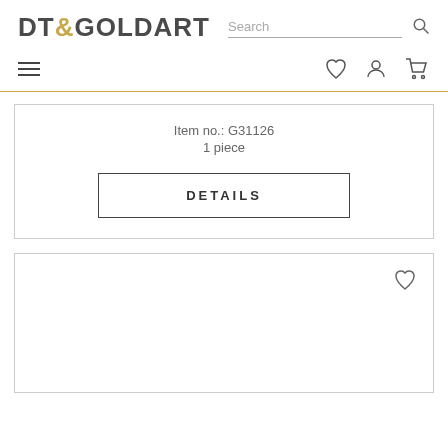DT&GOLDART
Search
Item no.: G31126
1 piece
DETAILS
[Figure (screenshot): Empty product card with heart icon in top right corner]